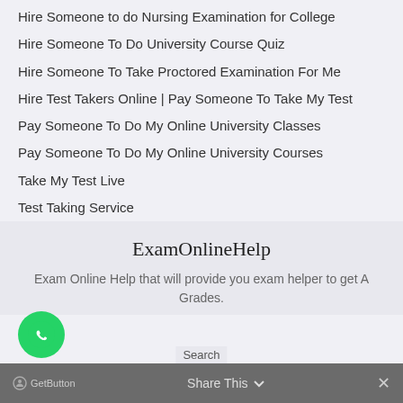Hire Someone to do Nursing Examination for College
Hire Someone To Do University Course Quiz
Hire Someone To Take Proctored Examination For Me
Hire Test Takers Online | Pay Someone To Take My Test
Pay Someone To Do My Online University Classes
Pay Someone To Do My Online University Courses
Take My Test Live
Test Taking Service
ExamOnlineHelp
Exam Online Help that will provide you exam helper to get A Grades.
GetButton   Share This   ×   Search